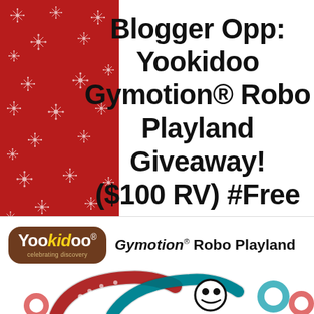[Figure (illustration): Red column with white snowflake pattern on the left side of the page, occupying approximately the left third]
Blogger Opp: Yookidoo Gymotion® Robo Playland Giveaway! ($100 RV) #Free & #Paid Options Available
[Figure (logo): Yookidoo logo badge (brown rounded rectangle with 'Yookidoo celebrating discovery' text) followed by 'Gymotion® Robo Playland' text, and partial image of the colorful Robo Playland product below]